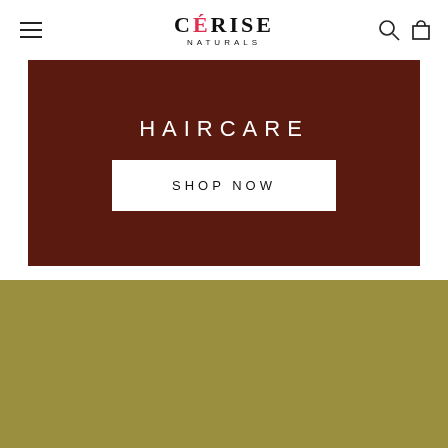CÉRISE NATURALS
[Figure (illustration): Dark brown banner with 'HAIRCARE' text in white and a 'SHOP NOW' button in white rectangle]
[Figure (illustration): Olive/khaki green colored section below the haircare banner]